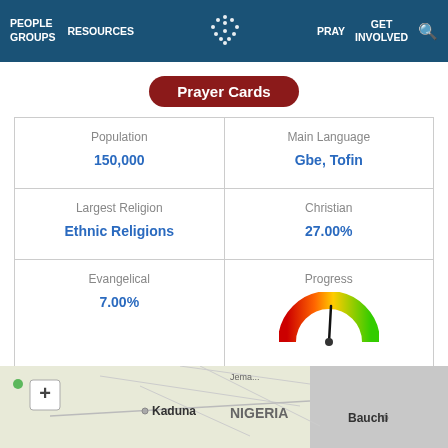PEOPLE GROUPS  RESOURCES  [logo]  PRAY  GET INVOLVED  [search]
Prayer Cards
| Population | Main Language |
| --- | --- |
| 150,000 | Gbe, Tofin |
| Largest Religion
Ethnic Religions | Christian
27.00% |
| Evangelical
7.00% | Progress [gauge] |
[Figure (map): Map showing Nigeria region with Kaduna, Bauchi labels and + zoom control]